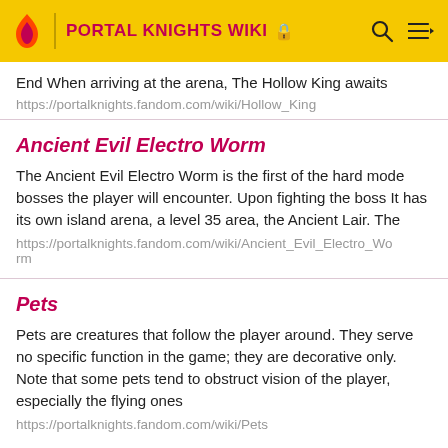PORTAL KNIGHTS WIKI
End When arriving at the arena, The Hollow King awaits
https://portalknights.fandom.com/wiki/Hollow_King
Ancient Evil Electro Worm
The Ancient Evil Electro Worm is the first of the hard mode bosses the player will encounter. Upon fighting the boss It has its own island arena, a level 35 area, the Ancient Lair. The
https://portalknights.fandom.com/wiki/Ancient_Evil_Electro_Worm
Pets
Pets are creatures that follow the player around. They serve no specific function in the game; they are decorative only. Note that some pets tend to obstruct vision of the player, especially the flying ones
https://portalknights.fandom.com/wiki/Pets